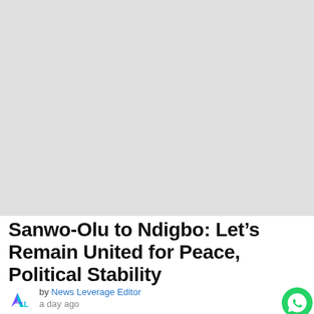[Figure (photo): Large placeholder image area with light gray background, likely a news article header image]
Sanwo-Olu to Ndigbo: Let's Remain United for Peace, Political Stability
by News Leverage Editor
a day ago